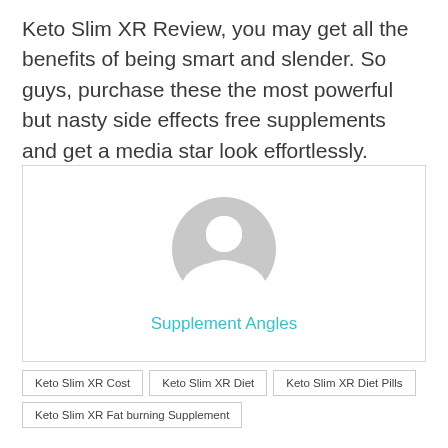Keto Slim XR Review, you may get all the benefits of being smart and slender. So guys, purchase these the most powerful but nasty side effects free supplements and get a media star look effortlessly.
[Figure (other): Generic user avatar icon (grey silhouette of person on white background) with the name 'Supplement Angles' in teal below]
Keto Slim XR Cost
Keto Slim XR Diet
Keto Slim XR Diet Pills
Keto Slim XR Fat burning Supplement